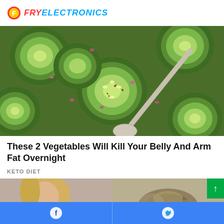FRY ELECTRONICS
[Figure (photo): Close-up of sliced cucumbers with red onion, spices and a metal spoon]
These 2 Vegetables Will Kill Your Belly And Arm Fat Overnight
KETO DIET
[Figure (photo): Woman with blonde hair looking down]
[Figure (photo): Blurry food image on right side]
Facebook share button and Twitter share button